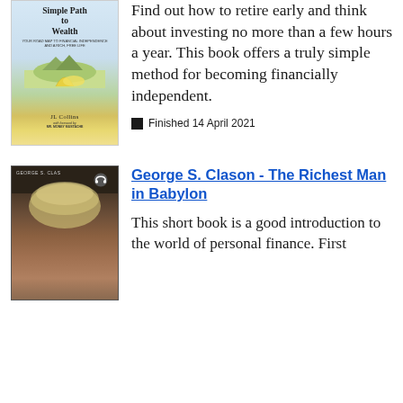[Figure (photo): Book cover of 'The Simple Path to Wealth' by JL Collins, with foreword by Mr. Money Mustache. Shows a winding path through a landscape.]
Find out how to retire early and think about investing no more than a few hours a year. This book offers a truly simple method for becoming financially independent.
Finished 14 April 2021
George S. Clason - The Richest Man in Babylon
[Figure (photo): Audiobook cover of 'The Richest Man in Babylon' by George S. Clason. Shows a classical portrait of a man in a turban with headphone icon overlay.]
This short book is a good introduction to the world of personal finance. First